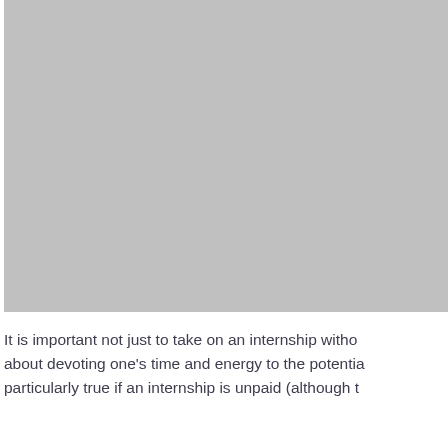[Figure (photo): A large grey placeholder image occupying the upper portion of the page]
It is important not just to take on an internship witho about devoting one's time and energy to the potentia particularly true if an internship is unpaid (although t